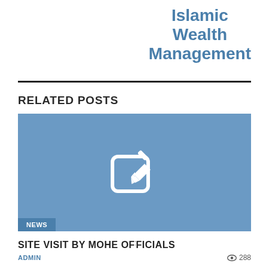Islamic Wealth Management
RELATED POSTS
[Figure (illustration): Blue rectangular placeholder image with a white edit/pencil icon in the center and a 'NEWS' badge in the bottom-left corner]
SITE VISIT BY MOHE OFFICIALS
ADMIN   288